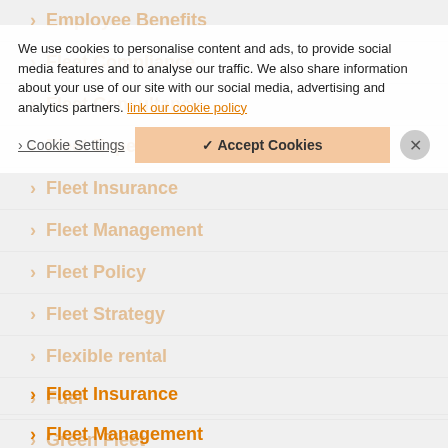> Employee Benefits
> Fleet Compliance
> Fleet Consultancy
> Fleet Expert
> Fleet Insurance
> Fleet Management
> Fleet Policy
> Fleet Strategy
> Flexible rental
> Fuel
> Green Fleet
> Grey Fleet
We use cookies to personalise content and ads, to provide social media features and to analyse our traffic. We also share information about your use of our site with our social media, advertising and analytics partners. [link] our cookie policy
Cookie Settings | Accept Cookies